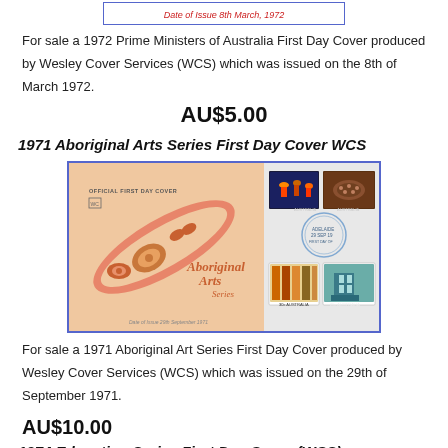[Figure (photo): Top portion of a First Day Cover envelope with blue border, showing red italic text 'Date of Issue 8th March, 1972']
For sale a 1972 Prime Ministers of Australia First Day Cover produced by Wesley Cover Services (WCS) which was issued on the 8th of March 1972.
AU$5.00
1971 Aboriginal Arts Series First Day Cover WCS
[Figure (photo): Official First Day Cover for Aboriginal Arts Series, showing decorative Aboriginal art boomerang and turtle design in pink/orange, with four Australian stamps and an Adelaide postmark dated 29 September 1971. Text reads 'OFFICIAL FIRST DAY COVER', 'Aboriginal Arts Series', 'Date of Issue 29th September 1971']
For sale a 1971 Aboriginal Art Series First Day Cover produced by Wesley Cover Services (WCS) which was issued on the 29th of September 1971.
AU$10.00
1974 Education Series First Day Cover (WCS)